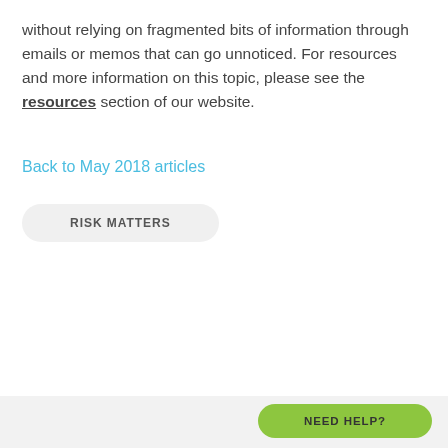without relying on fragmented bits of information through emails or memos that can go unnoticed. For resources and more information on this topic, please see the resources section of our website.
Back to May 2018 articles
RISK MATTERS
NEED HELP?